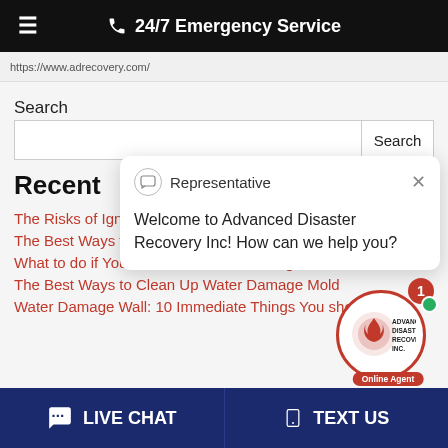☰   📞 24/7 Emergency Service
https://www.adrecovery.com/
Search
[Search input field] [Search button]
Recent
The Risks of Ignor...
The Best Ways to Clean Up Water Damage
What to do if You Find Water Mold Damage
The Best Ways to Clean Up Water Damage Mold
Water Damage Wall: 10 Immediate Things You should...
Representative
Welcome to Advanced Disaster Recovery Inc! How can we help you?
[Figure (logo): Advanced Disaster Recovery Inc. circular logo with flame icon, red border, badge showing 1 notification, green online dot, and Online Agent label]
💬 LIVE CHAT    📱 TEXT US